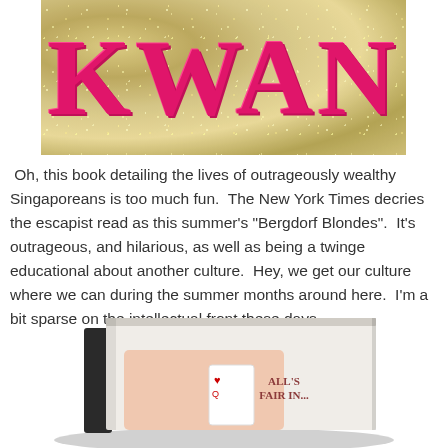[Figure (photo): Book cover showing the word KWAN in large bold pink/magenta letters on a gold glitter background]
Oh, this book detailing the lives of outrageously wealthy Singaporeans is too much fun.  The New York Times decries the escapist read as this summer's "Bergdorf Blondes".  It's outrageous, and hilarious, as well as being a twinge educational about another culture.  Hey, we get our culture where we can during the summer months around here.  I'm a bit sparse on the intellectual front these days.
[Figure (photo): A book shown at an angle, held by hands with manicured nails, playing cards visible, text reading ALL'S FAIR IN...]